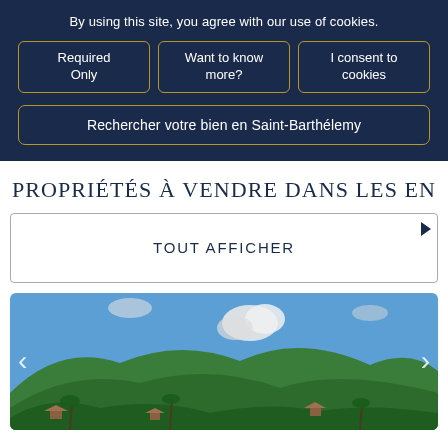By using this site, you agree with our use of cookies.
Required Only
Want to know more?
I consent to cookies
Rechercher votre bien en Saint-Barthélemy
PROPRIÉTÉS À VENDRE DANS LES EN
TOUT AFFICHER
[Figure (photo): Aerial photo of a lush green hillside with houses and palm trees in Saint-Barthélemy under a blue sky with clouds, with left and right navigation arrows.]